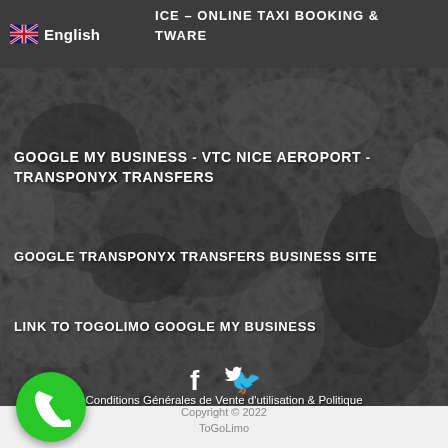[Figure (screenshot): Dark textured background resembling a BW photo of crumpled material]
English | ICE - ONLINE TAXI BOOKING & TWARE
GOOGLE MY BUSINESS - VTC NICE AEROPORT - TRANSPONYX TRANSFERS
GOOGLE TRANSPONYX TRANSFERS BUSINESS SITE
LINK TO TOGOLIMO GOOGLE MY BUSINESS
[Figure (illustration): Facebook and Twitter social media icons in white]
Conditions Générales de Vente d'utilisation & Politique de confidentialité
Copyright © 2022 ToGoLimo
[Figure (illustration): Green circular phone call button in bottom left corner]